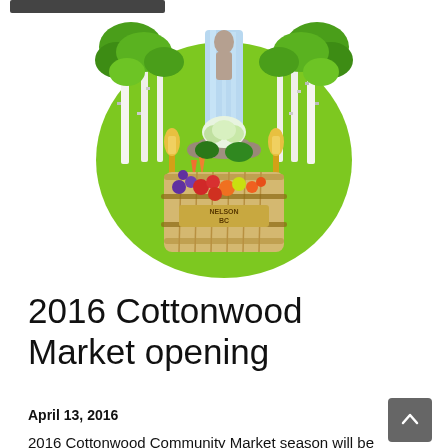[Figure (logo): Cottonwood Market logo: circular bright green background with illustrated birch trees, waterfall, and a wooden barrel/basket filled with colorful vegetables and fruits. Text on the barrel reads 'Nelson BC'.]
2016 Cottonwood Market opening
April 13, 2016
2016 Cottonwood Community Market season will be